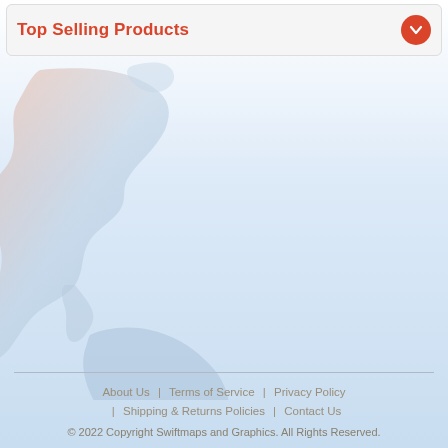Top Selling Products
[Figure (map): Faded watermark map of the Americas (North America, Central America, South America) in light blue-orange tones serving as page background decoration]
About Us  |  Terms of Service  |  Privacy Policy  |  Shipping & Returns Policies  |  Contact Us
© 2022 Copyright Swiftmaps and Graphics. All Rights Reserved.